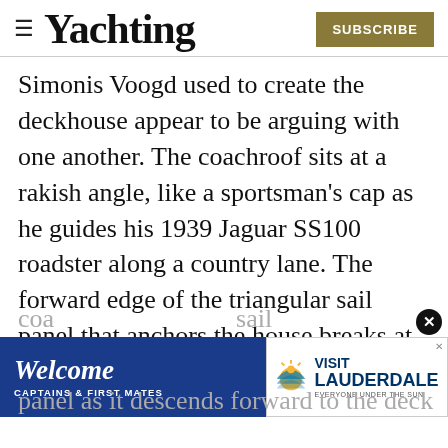Yachting | SUBSCRIBE
Simonis Voogd used to create the deckhouse appear to be arguing with one another. The coachroof sits at a rakish angle, like a sportsman’s cap as he guides his 1939 Jaguar SS100 roadster along a country lane. The forward edge of the triangular sail panel that anchors the house breaks at an obtuse angle, seeming to urge the structure forward. Although the designer’s choice may seem random, careful study reveals that the slope of the coa... sail panel as it descends forward to the deck
[Figure (infographic): Advertisement banner: left side dark blue with 'Welcome CAPTAINS & FIRST MATES' text, right side white with Visit Lauderdale logo and sun graphic. Close X button on far right of ad.]